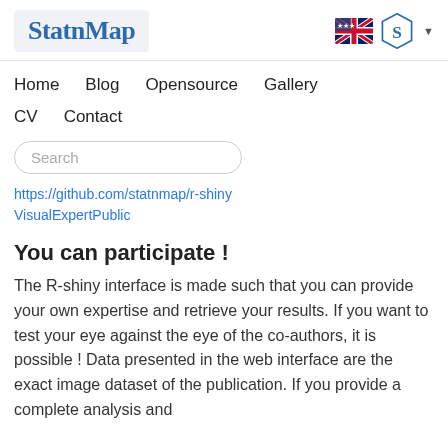StatnMap
Home   Blog   Opensource   Gallery   CV   Contact
Search
https://github.com/statnmap/r-shiny
VisualExpertPublic
You can participate !
The R-shiny interface is made such that you can provide your own expertise and retrieve your results. If you want to test your eye against the eye of the co-authors, it is possible ! Data presented in the web interface are the exact image dataset of the publication. If you provide a complete analysis and